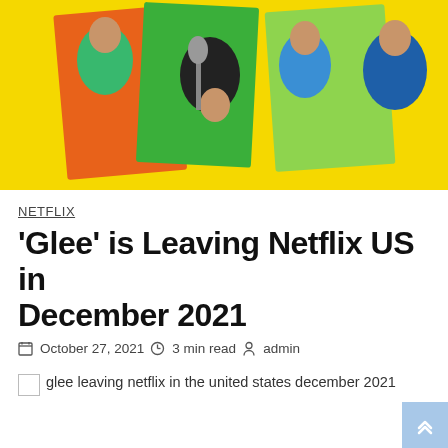[Figure (photo): Promotional image for Glee TV show on a yellow background with cast members posing]
NETFLIX
'Glee' is Leaving Netflix US in December 2021
October 27, 2021   3 min read   admin
glee leaving netflix in the united states december 2021